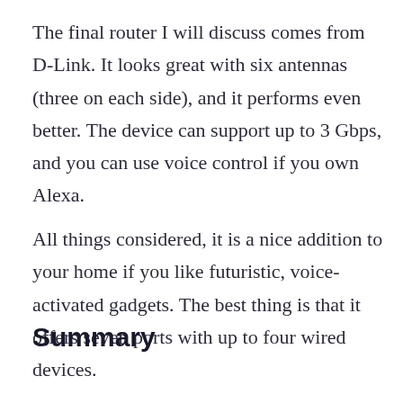The final router I will discuss comes from D-Link. It looks great with six antennas (three on each side), and it performs even better. The device can support up to 3 Gbps, and you can use voice control if you own Alexa.
All things considered, it is a nice addition to your home if you like futuristic, voice-activated gadgets. The best thing is that it offers seven ports with up to four wired devices.
Summary
[Figure (other): Advertisement banner for Avail car rental: 'Renting a car just got easier' with a 'Book Now' button and Avail logo on cyan background]